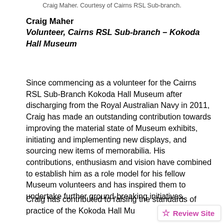Craig Maher. Courtesy of Cairns RSL Sub-branch.
Craig Maher
Volunteer, Cairns RSL Sub-branch – Kokoda Hall Museum
Since commencing as a volunteer for the Cairns RSL Sub-Branch Kokoda Hall Museum after discharging from the Royal Australian Navy in 2011, Craig has made an outstanding contribution towards improving the material state of Museum exhibits, initiating and implementing new displays, and sourcing new items of memorabilia. His contributions, enthusiasm and vision have combined to establish him as a role model for his fellow Museum volunteers and has inspired them to undertake further ground-breaking initiatives.
Craig has contributed to raising the standards of practice of the Kokoda Hall Mu...